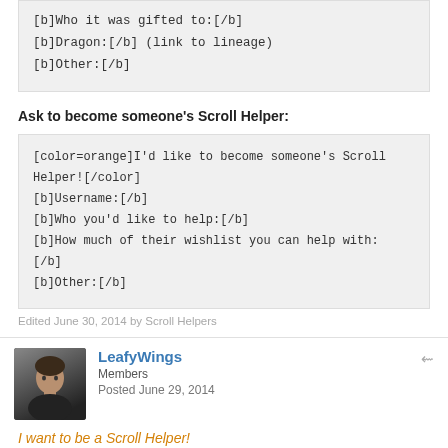[b]Who it was gifted to:[/b]
[b]Dragon:[/b] (link to lineage)
[b]Other:[/b]
Ask to become someone's Scroll Helper:
[color=orange]I'd like to become someone's Scroll Helper![/color]
[b]Username:[/b]
[b]Who you'd like to help:[/b]
[b]How much of their wishlist you can help with:[/b]
[b]Other:[/b]
Edited June 30, 2014 by Scroll Helpers
LeafyWings
Members
Posted June 29, 2014
I want to be a Scroll Helper!